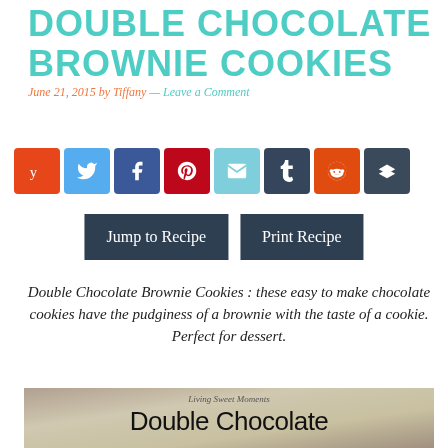DOUBLE CHOCOLATE BROWNIE COOKIES
June 21, 2015 by Tiffany — Leave a Comment
[Figure (infographic): Row of 8 social media share buttons: Yummly (orange), Twitter (light blue), Facebook (dark blue), Pinterest (red), Email (teal), Tumblr (dark slate), Reddit (orange), Buffer (dark slate)]
[Figure (infographic): Two dark navy buttons: 'Jump to Recipe' and 'Print Recipe']
Double Chocolate Brownie Cookies : these easy to make chocolate cookies have the pudginess of a brownie with the taste of a cookie. Perfect for dessert.
[Figure (photo): Partial photo with blurred brown/tan background showing the text 'Living Sweet Moments' as watermark and large serif text 'Double Chocolate Brownie Cookies' in black]